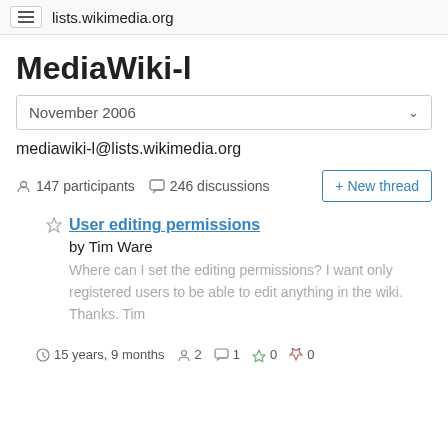lists.wikimedia.org
MediaWiki-l
November 2006
mediawiki-l@lists.wikimedia.org
147 participants   246 discussions
+ New thread
User editing permissions
by Tim Ware
Where can I set the editing permissions? I want only registered users to be able to edit anything in the wiki. Thanks. Tim
15 years, 9 months   2   1   0   0